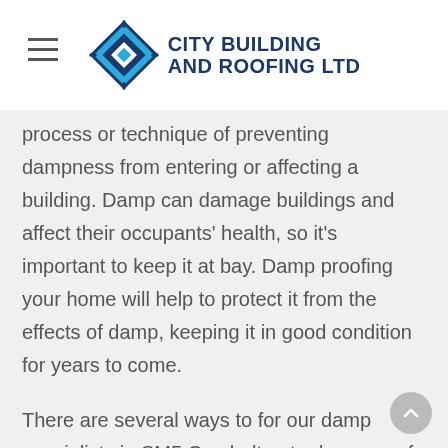City Building and Roofing Ltd
process or technique of preventing dampness from entering or affecting a building. Damp can damage buildings and affect their occupants' health, so it's important to keep it at bay. Damp proofing your home will help to protect it from the effects of damp, keeping it in good condition for years to come.
There are several ways to for our damp specialists in SM5 Carshalton to damp proof your home. The most common is to install a damp proof course (DPC)